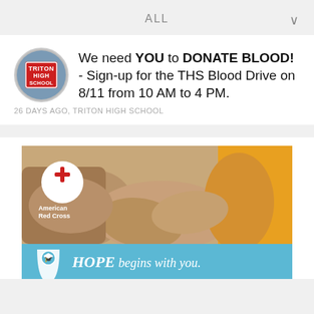ALL
We need YOU to DONATE BLOOD! - Sign-up for the THS Blood Drive on 8/11 from 10 AM to 4 PM.
26 DAYS AGO, TRITON HIGH SCHOOL
[Figure (photo): American Red Cross blood drive promotional image showing people joining hands with a 'HOPE begins with you.' banner and Red Cross logo.]